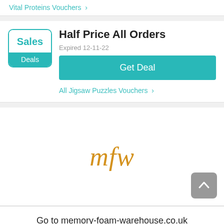Vital Proteins Vouchers >
Half Price All Orders
Expired 12-11-22
Get Deal
All Jigsaw Puzzles Vouchers >
[Figure (logo): mfw logo in orange italic serif font]
Go to memory-foam-warehouse.co.uk